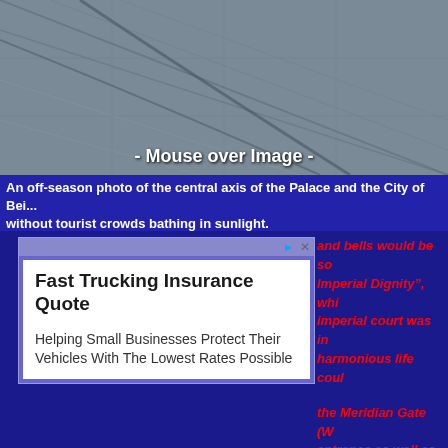[Figure (photo): Off-season aerial photo of the central axis of the Palace and the City of Beijing, gray pavement with diagonal lines, overlay text '- Mouse over Image -']
An off-season photo of the central axis of the Palace and the City of Beijing without tourist crowds bathing in sunlight.
[Figure (infographic): Advertisement box: Fast Trucking Insurance Quote - Helping Small Businesses Protect Their Vehicles With The Lowest Rates Possible]
and bells would be so Imperial Dignity", whi imperial court was in harmonious life could
the Meridian Gate (W entrance as well as th emperors announced calendar on the winte important event. No d could walk through it entering it on the day emperors, and the to the annual final impe of it for one time) on t
Wu Men or Gate of th